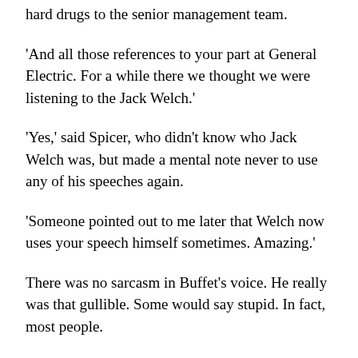hard drugs to the senior management team.
'And all those references to your part at General Electric. For a while there we thought we were listening to the Jack Welch.'
'Yes,' said Spicer, who didn't know who Jack Welch was, but made a mental note never to use any of his speeches again.
'Someone pointed out to me later that Welch now uses your speech himself sometimes. Amazing.'
There was no sarcasm in Buffet's voice. He really was that gullible. Some would say stupid. In fact, most people.
'So tell me,' asked Spicer, 'did it have any impact?